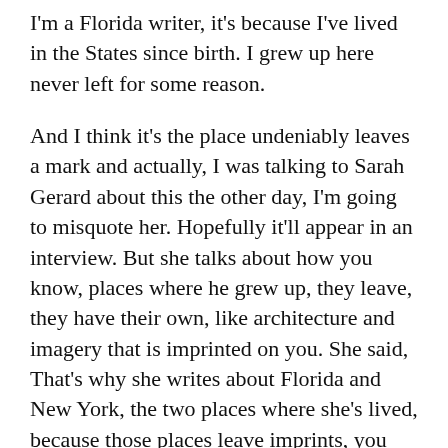I'm a Florida writer, it's because I've lived in the States since birth. I grew up here never left for some reason.
And I think it's the place undeniably leaves a mark and actually, I was talking to Sarah Gerard about this the other day, I'm going to misquote her. Hopefully it'll appear in an interview. But she talks about how you know, places where he grew up, they leave, they have their own, like architecture and imagery that is imprinted on you. She said, That's why she writes about Florida and New York, the two places where she's lived, because those places leave imprints, you don't necessarily have to do as much or any research on the setting itself too, because you're, you're immersed in it, you understand it on an emotional level, as well as like a sort of physical topographical level.